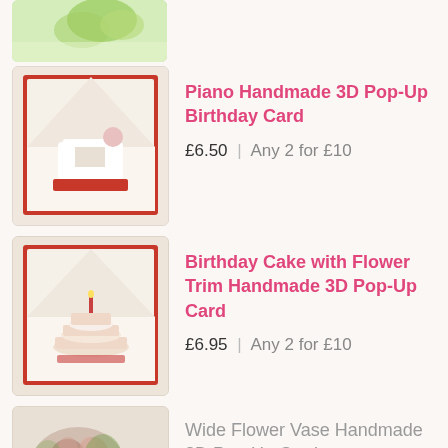[Figure (photo): Partial top image of a green handmade pop-up card with bow/flower decoration]
[Figure (photo): Piano Handmade 3D Pop-Up Birthday Card product photo showing white grand piano scene inside red card]
Piano Handmade 3D Pop-Up Birthday Card
£6.50  |  Any 2 for £10
[Figure (photo): Birthday Cake with Flower Trim Handmade 3D Pop-Up Card product photo showing tiered cake with candle inside red card]
Birthday Cake with Flower Trim Handmade 3D Pop-Up Card
£6.95  |  Any 2 for £10
[Figure (photo): Partial bottom image of Wide Flower Vase Handmade 3D Pop-Up Card showing flower arrangement]
Wide Flower Vase Handmade 3D Pop-Up Card
£6.85  |  Any 2 for £10